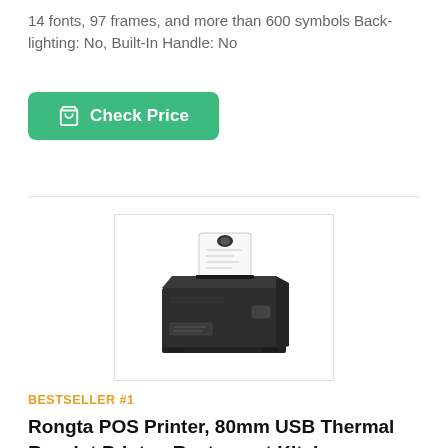14 fonts, 97 frames, and more than 600 symbols Back-lighting: No, Built-In Handle: No
[Figure (other): Green 'Check Price' button with shopping cart icon]
[Figure (photo): Photo of a dark gray Rongta POS thermal receipt printer with white paper roll emerging from the top, set against a white background inside a bordered image frame]
BESTSELLER #1
Rongta POS Printer, 80mm USB Thermal Receipt Printer, Restaurant Kitchen